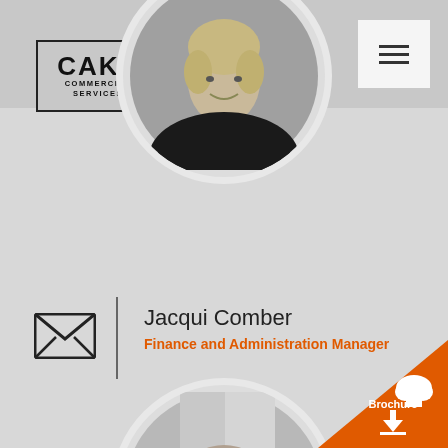[Figure (logo): CAKE Commercial Services logo in a rectangular border]
[Figure (photo): Circular portrait photo of Jacqui Comber, a woman with shoulder-length blonde hair, black jacket, smiling]
[Figure (illustration): Envelope/email icon]
Jacqui Comber
Finance and Administration Manager
[Figure (photo): Circular portrait photo of a bald man in a dark setting]
[Figure (illustration): Orange brochure download button in lower right corner with cloud and download arrow icons]